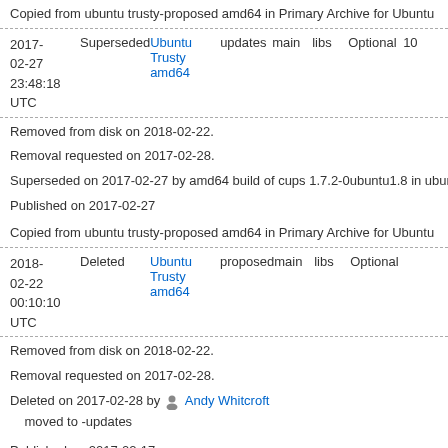Copied from ubuntu trusty-proposed amd64 in Primary Archive for Ubuntu
| Date | Status | Distribution | Pocket | Component | Section | Priority | Version |
| --- | --- | --- | --- | --- | --- | --- | --- |
| 2017-02-27 23:48:18 UTC | Superseded | Ubuntu Trusty amd64 | updates | main | libs | Optional | 10... |
Removed from disk on 2018-02-22.
Removal requested on 2017-02-28.
Superseded on 2017-02-27 by amd64 build of cups 1.7.2-0ubuntu1.8 in ubunt...
Published on 2017-02-27
Copied from ubuntu trusty-proposed amd64 in Primary Archive for Ubuntu
| Date | Status | Distribution | Pocket | Component | Section | Priority |
| --- | --- | --- | --- | --- | --- | --- |
| 2018-02-22 00:10:10 UTC | Deleted | Ubuntu Trusty amd64 | proposed | main | libs | Optional |
Removed from disk on 2018-02-22.
Removal requested on 2017-02-28.
Deleted on 2017-02-28 by Andy Whitcroft moved to -updates
Published on 2017-02-17
| Date | Status | Distribution | Pocket | Component | Section | Priority |
| --- | --- | --- | --- | --- | --- | --- |
| 2017-02-27... | Superseded | Ubuntu Trusty... | updates | main | libs | Optional |